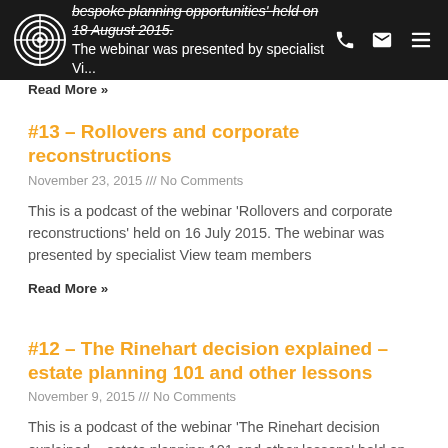bespoke planning opportunities held on 18 August 2015. The webinar was presented by specialist View team members
Read More »
#13 – Rollovers and corporate reconstructions
November 23, 2015 /// No Comments
This is a podcast of the webinar 'Rollovers and corporate reconstructions' held on 16 July 2015. The webinar was presented by specialist View team members
Read More »
#12 – The Rinehart decision explained – estate planning 101 and other lessons
November 9, 2015 /// No Comments
This is a podcast of the webinar 'The Rinehart decision explained – estate planning 101 and other lessons' held on 24 June 2015. The webinar